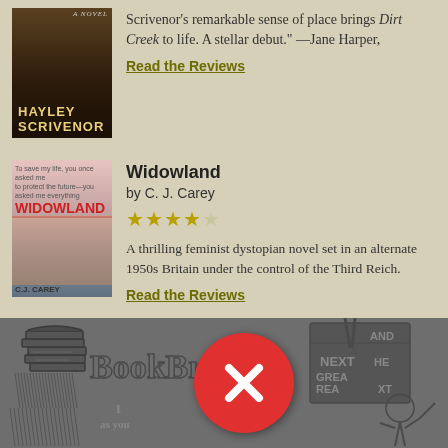Scrivenor's remarkable sense of place brings Dirt Creek to life. A stellar debut." —Jane Harper,
Read the Reviews
[Figure (illustration): Book cover for Widowland by C.J. Carey showing a woman with sunglasses against a pink/grey background]
Widowland
by C. J. Carey
★★★★☆ (4 out of 5 stars)
A thrilling feminist dystopian novel set in an alternate 1950s Britain under the control of the Third Reich.
Read the Reviews
[Figure (illustration): BookBrowse promotional illustration showing the BookBrowse logo with text 'NEXT GREAT READ' partially visible, and a red circular close/error button overlaid in the center]